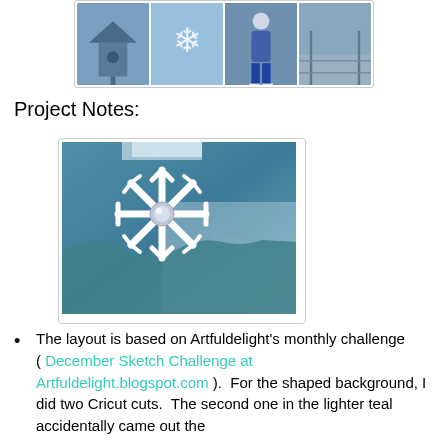[Figure (photo): A collage of winter-themed photos showing a birdhouse, snowflake, person standing outdoors, and a frosty outdoor scene on a blue-tinted background.]
Project Notes:
[Figure (photo): Close-up photo of a craft project showing a white snowflake die-cut with a rhinestone center on a teal/blue shaped background with decorative patterned paper.]
The layout is based on Artfuldelight's monthly challenge ( December Sketch Challenge at Artfuldelight.blogspot.com ).  For the shaped background, I did two Cricut cuts.  The second one in the lighter teal accidentally came out the